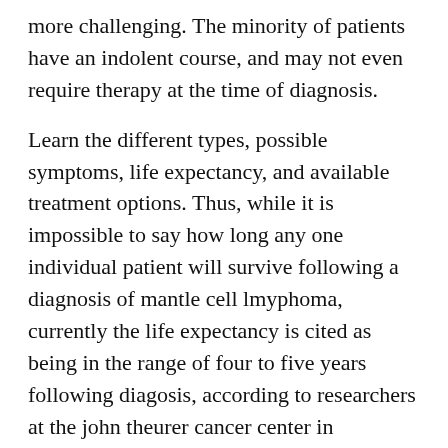more challenging. The minority of patients have an indolent course, and may not even require therapy at the time of diagnosis.
Learn the different types, possible symptoms, life expectancy, and available treatment options. Thus, while it is impossible to say how long any one individual patient will survive following a diagnosis of mantle cell lmyphoma, currently the life expectancy is cited as being in the range of four to five years following diagosis, according to researchers at the john theurer cancer center in hackensack, new jersey. The minority of patients have an indolent course, and may not even require therapy at the time of diagnosis.
Mantle cell lymphoma survival rate | lymphoma cancer survival rate. Diffuse large b cell lymphoma is the most